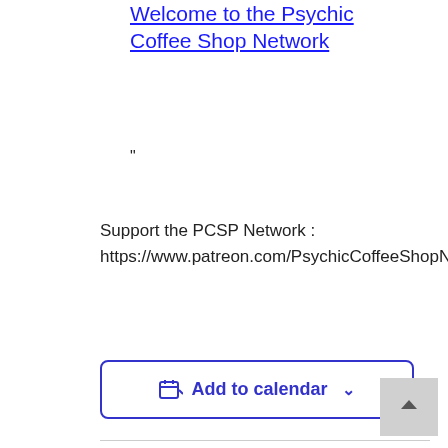Welcome to the Psychic Coffee Shop Network
"
Support the PCSP Network : https://www.patreon.com/PsychicCoffeeShopNe
Add to calendar
DETAILS
ORGANIZER
Date:
March 16, 2023
Aeson Knight
Time:
Phone:
(304) 584-3592